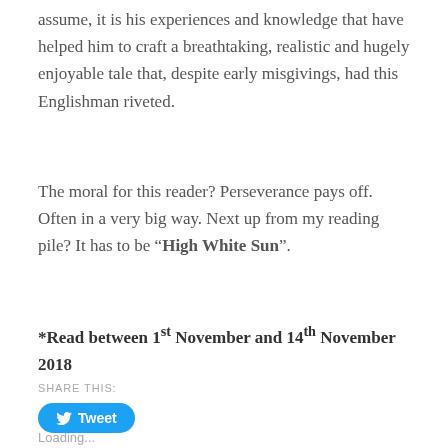assume, it is his experiences and knowledge that have helped him to craft a breathtaking, realistic and hugely enjoyable tale that, despite early misgivings, had this Englishman riveted.
The moral for this reader? Perseverance pays off. Often in a very big way. Next up from my reading pile? It has to be “High White Sun”.
*Read between 1st November and 14th November 2018
SHARE THIS:
[Figure (other): Twitter Tweet button (blue rounded rectangle with bird icon and 'Tweet' label)]
Loading...